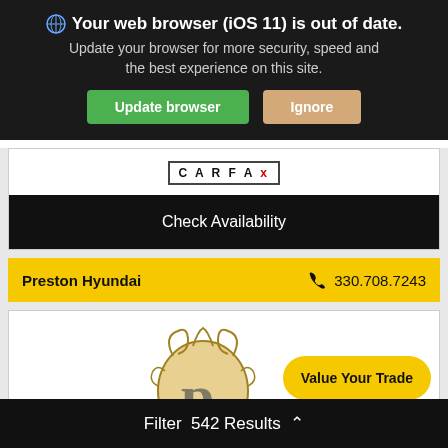Your web browser (iOS 11) is out of date. Update your browser for more security, speed and the best experience on this site.
Update browser
Ignore
[Figure (logo): CARFAX logo]
Check Availability
Preston Hyundai   330.708.7243
[Figure (logo): Preston Hyundai ornate crest logo (partial)]
Value Your Trade
Filter  542 Results  ^